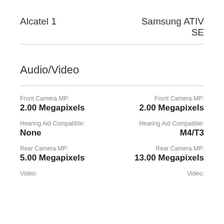Alcatel 1
Samsung ATIV SE
Audio/Video
Front Camera MP:
2.00 Megapixels
Front Camera MP:
2.00 Megapixels
Hearing Aid Compatible:
None
Hearing Aid Compatible:
M4/T3
Rear Camera MP:
5.00 Megapixels
Rear Camera MP:
13.00 Megapixels
Video:
Video: